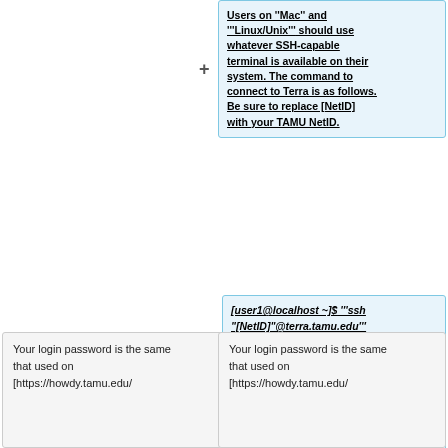Users on ''Mac'' and '''Linux/Unix''' should use whatever SSH-capable terminal is available on their system. The command to connect to Terra is as follows. Be sure to replace [NetID] with your TAMU NetID.
[user1@localhost ~]$ '''ssh "[NetID]"@terra.tamu.edu'''
<font color=teal>'''Note:''' In this example "[user1@localhost ~]$" represents the command prompt on your local machine. </font> <br>
Your login password is the same that used on [https://howdy.tamu.edu/
Your login password is the same that used on [https://howdy.tamu.edu/